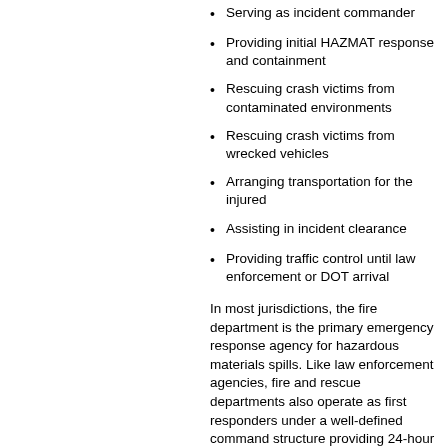Serving as incident commander
Providing initial HAZMAT response and containment
Rescuing crash victims from contaminated environments
Rescuing crash victims from wrecked vehicles
Arranging transportation for the injured
Assisting in incident clearance
Providing traffic control until law enforcement or DOT arrival
In most jurisdictions, the fire department is the primary emergency response agency for hazardous materials spills. Like law enforcement agencies, fire and rescue departments also operate as first responders under a well-defined command structure providing 24-hour emergency response. Unlike law enforcement, who operate individually for most duties, fire departments operate under a highly organized